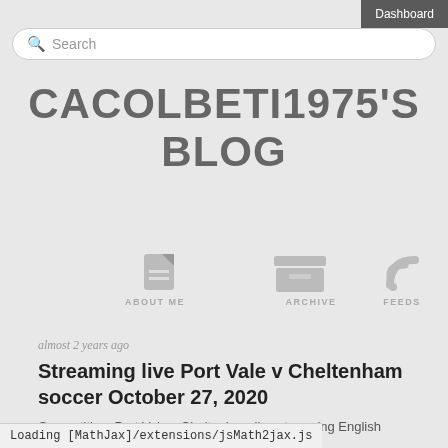Dashboard
Search
CACOLBETI1975'S BLOG
[Figure (infographic): Navigation icons: About Me (document icon), Archive (archive box icon), Feeds (RSS icon)]
almost 2 years ago
Streaming live Port Vale v Cheltenham soccer October 27, 2020
Competition: Port Vale v Cheltenham live streaming English
Loading [MathJax]/extensions/jsMath2jax.js